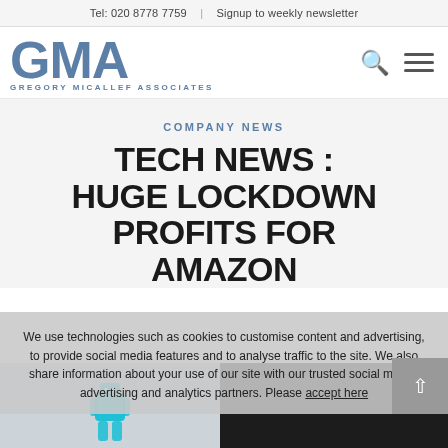Tel: 020 8778 7759  |  Signup to weekly newsletter
[Figure (logo): GMA Gregory Micallef Associates logo in blue]
COMPANY NEWS
TECH NEWS : HUGE LOCKDOWN PROFITS FOR AMAZON
We use technologies such as cookies to customise content and advertising, to provide social media features and to analyse traffic to the site. We also share information about your use of our site with our trusted social media, advertising and analytics partners. Please accept here
[Figure (photo): Amazon device photo — robot toy on left with light background, tablet/device on right with dark background]